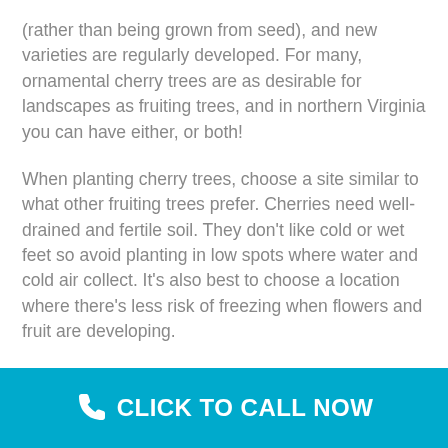(rather than being grown from seed), and new varieties are regularly developed. For many, ornamental cherry trees are as desirable for landscapes as fruiting trees, and in northern Virginia you can have either, or both!
When planting cherry trees, choose a site similar to what other fruiting trees prefer. Cherries need well-drained and fertile soil. They don't like cold or wet feet so avoid planting in low spots where water and cold air collect. It's also best to choose a location where there's less risk of freezing when flowers and fruit are developing.
Unlike apples or pears, however, cherries are quite sensitive to climate and temperature and may be more difficult to grow. Cherry trees don't want:
[Figure (infographic): Cyan/teal call-to-action bar at the bottom with a white phone handset icon and bold white text reading CLICK TO CALL NOW]